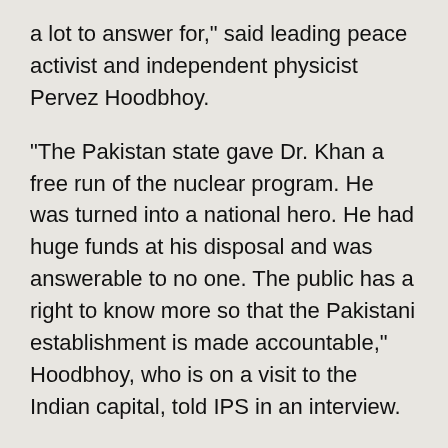a lot to answer for," said leading peace activist and independent physicist Pervez Hoodbhoy.
"The Pakistan state gave Dr. Khan a free run of the nuclear program. He was turned into a national hero. He had huge funds at his disposal and was answerable to no one. The public has a right to know more so that the Pakistani establishment is made accountable," Hoodbhoy, who is on a visit to the Indian capital, told IPS in an interview.
Hoodbhoy, who teaches physics at Pakistan’s Quaid-e-Azam University, thinks that coming clean is "part of the agenda of democratization."
It was largely because of U.S. pressure that Pakistan acted against Khan and put him under house arrest. But much of his activity has been hushed up.